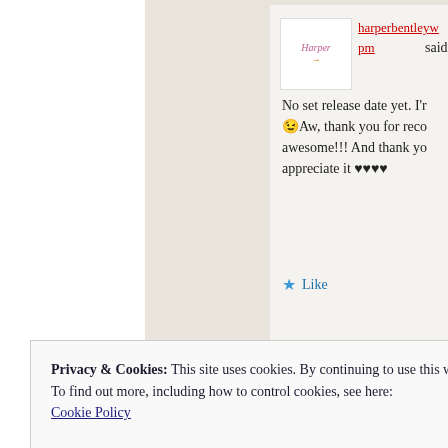[Figure (screenshot): Screenshot of a blog comment section. A user avatar with stylized text is shown alongside a username link 'harperbentleyw...pm' in red with underline, followed by 'said:'. The comment text reads: 'No set release date yet. I'r [truncated] 😉Aw, thank you for reco[mmending] awesome!!! And thank yo[u] appreciate it ♥♥♥♥'. A blue star Like button is shown below. A cookie consent banner overlays the bottom: 'Privacy & Cookies: This site uses cookies. By continuing to use this website, you agree to their use. To find out more, including how to control cookies, see here: Cookie Policy' with a 'Close and accept' button.]
harperbentleyw... pm said: No set release date yet. I'r 😉Aw, thank you for reco awesome!!! And thank yo appreciate it ♥♥♥♥
Privacy & Cookies: This site uses cookies. By continuing to use this website, you agree to their use. To find out more, including how to control cookies, see here: Cookie Policy
Close and accept